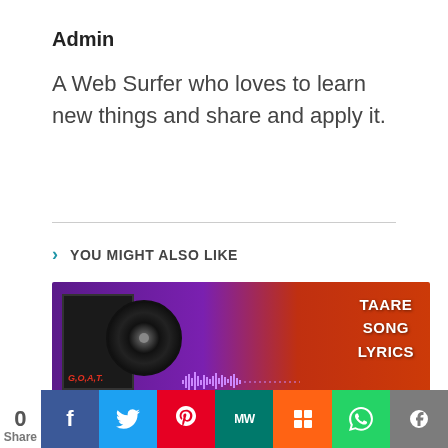Admin
A Web Surfer who loves to learn new things and share and apply it.
YOU MIGHT ALSO LIKE
[Figure (photo): Thumbnail image for 'Taare Song Lyrics' article, showing a purple and orange background with a vinyl record and album cover on the left labeled G.O.A.T., and text reading TAARE SONG LYRICS on the right side.]
0 Share | Facebook | Twitter | Pinterest | MW | Mix | WhatsApp | Share